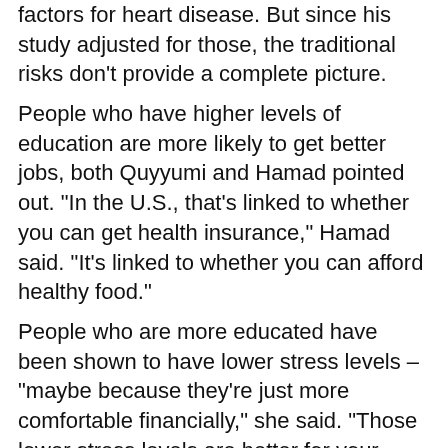factors for heart disease. But since his study adjusted for those, the traditional risks don't provide a complete picture.
People who have higher levels of education are more likely to get better jobs, both Quyyumi and Hamad pointed out. "In the U.S., that's linked to whether you can get health insurance," Hamad said. "It's linked to whether you can afford healthy food."
People who are more educated have been shown to have lower stress levels – "maybe because they're just more comfortable financially," she said. "Those lower stress levels are better for your heart in the long run."
Someone with less education and a low income also is less likely to have a support network that helps look after them when they have health problems. "That can also decrease their compliance" with treatment, said Quyyumi, a professor of medicine at Emory University